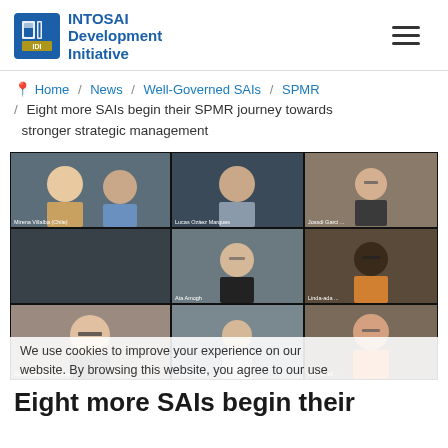INTOSAI Development Initiative
Home / News / Well-Governed SAIs / SPMR / Eight more SAIs begin their SPMR journey towards stronger strategic management
[Figure (screenshot): Video conference grid showing 8 participants in a Zoom/Teams-style online meeting. Top-left: two people sharing a frame (woman and man). Top-center: man in grey sweater. Top-right: woman with glasses. Middle-center: woman in dark patterned top. Middle-right: woman with glasses and colorful top. Bottom-left: woman with glasses smiling. Bottom-center: woman standing in doorway. Bottom-right: woman with glasses in colorful top. Participant name labels visible at bottom of each cell.]
We use cookies to improve your experience on our website. By browsing this website, you agree to our use
Eight more SAIs begin their